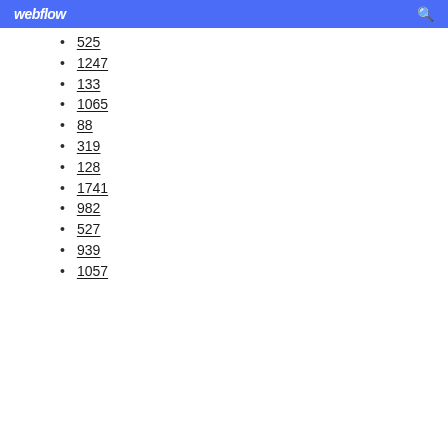webflow
525
1247
133
1065
88
319
128
1741
982
527
939
1057